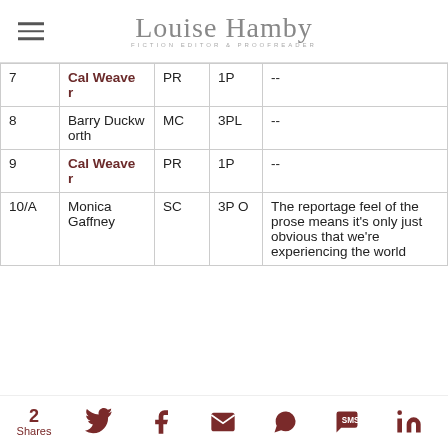Louise Hamby — Fiction Editor & Proofreader
| # | Name | Type | POV | Notes |
| --- | --- | --- | --- | --- |
| 7 | Cal Weaver | PR | 1P | -- |
| 8 | Barry Duckworth | MC | 3PL | -- |
| 9 | Cal Weaver | PR | 1P | -- |
| 10/A | Monica Gaffney | SC | 3PO | The reportage feel of the prose means it's only just obvious that we're experiencing the world |
2 Shares — social share icons: Twitter, Facebook, Email, WhatsApp, SMS, LinkedIn